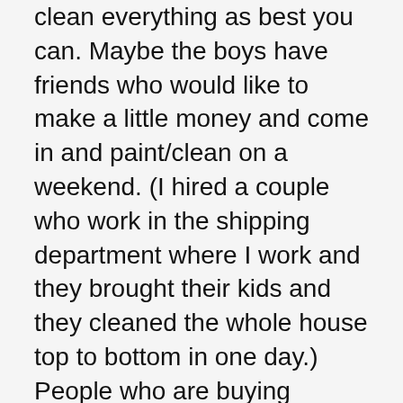clean everything as best you can. Maybe the boys have friends who would like to make a little money and come in and paint/clean on a weekend. (I hired a couple who work in the shipping department where I work and they brought their kids and they cleaned the whole house top to bottom in one day.) People who are buying Victorians expect to do fix-up work and half the time will just want to undo/redo whatever you did anyway. Get it good enough, reflect it in the price, and GO. Absent a big budget, a place to offload almost everything, and professional stagers, you will never get it perfect. Don't look at HGTV, get it to the point where you could say, "Hey, I could make this work" if you were the buyer, and list it.